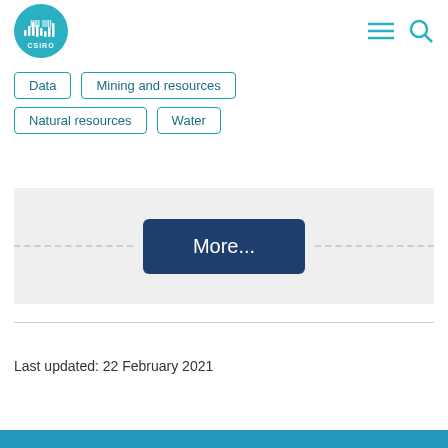CSIRO
Data
Mining and resources
Natural resources
Water
[Figure (other): More... button centered in a light grey panel with dashed lines on either side]
Last updated: 22 February 2021